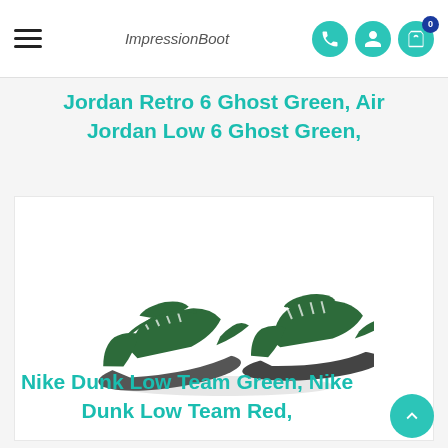ImpressionBoot — navigation header with hamburger menu, logo, phone, account, and cart icons
Jordan Retro 6 Ghost Green, Air Jordan Low 6 Ghost Green,
[Figure (photo): Pair of Nike Dunk Low sneakers in white and dark green colorway, shown from a three-quarter angle on a white background]
Nike Dunk Low Team Green, Nike Dunk Low Team Red,